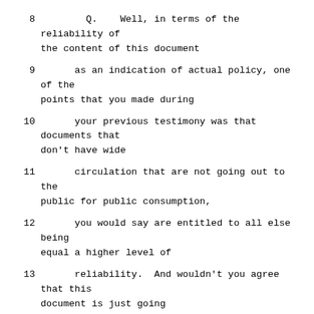8    Q.   Well, in terms of the reliability of the content of this document
9      as an indication of actual policy, one of the points that you made during
10      your previous testimony was that documents that don't have wide
11      circulation that are not going out to the public for public consumption,
12      you would say are entitled to all else being equal a higher level of
13      reliability.  And wouldn't you agree that this document is just going
14    from the central settlement committee to one